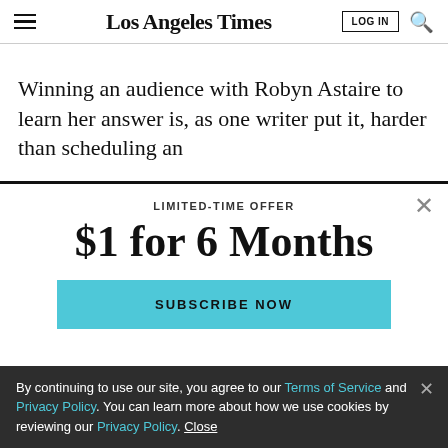Los Angeles Times
Winning an audience with Robyn Astaire to learn her answer is, as one writer put it, harder than scheduling an
LIMITED-TIME OFFER
$1 for 6 Months
SUBSCRIBE NOW
By continuing to use our site, you agree to our Terms of Service and Privacy Policy. You can learn more about how we use cookies by reviewing our Privacy Policy. Close